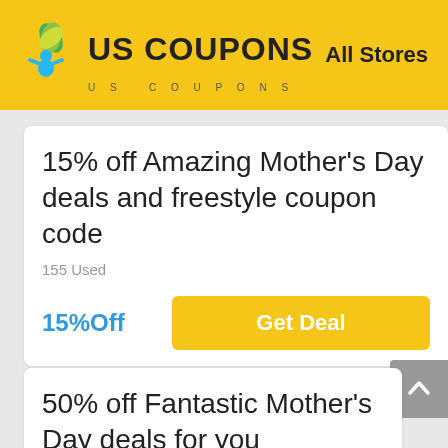US COUPONS — All Stores
15% off Amazing Mother's Day deals and freestyle coupon code
155 Used
15%Off
Get Deal
50% off Fantastic Mother's Day deals for you